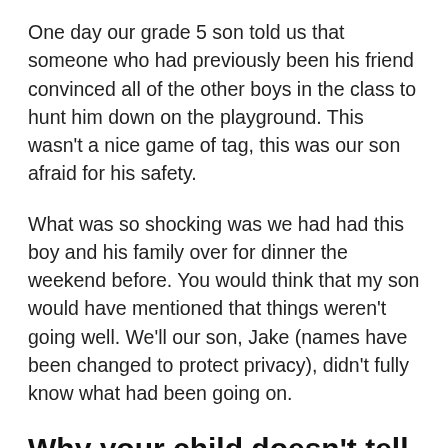One day our grade 5 son told us that someone who had previously been his friend convinced all of the other boys in the class to hunt him down on the playground. This wasn't a nice game of tag, this was our son afraid for his safety.
What was so shocking was we had had this boy and his family over for dinner the weekend before. You would think that my son would have mentioned that things weren't going well. We'll our son, Jake (names have been changed to protect privacy), didn't fully know what had been going on.
Why your child doesn't tell you that they are being bullied